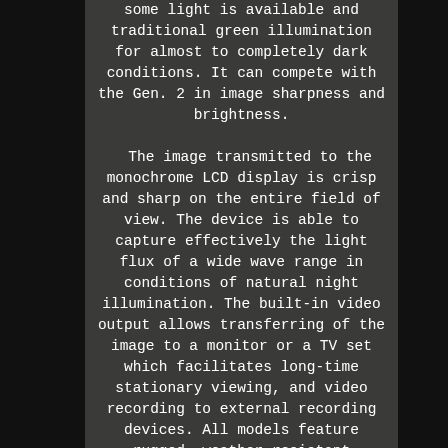some light is available and traditional green illumination for almost to completely dark conditions. It can compete with the Gen. 2 in image sharpness and brightness.

The image transmitted to the monochrome LCD display is crisp and sharp on the entire field of view. The device is able to capture effectively the light flux of a wide wave range in conditions of natural night illumination. The built-in video output allows transferring of the image to a monitor or a TV set which facilitates long-time stationary viewing, and video recording to external recording devices. All models feature rugged, weather-resistant housings and integrated accessory